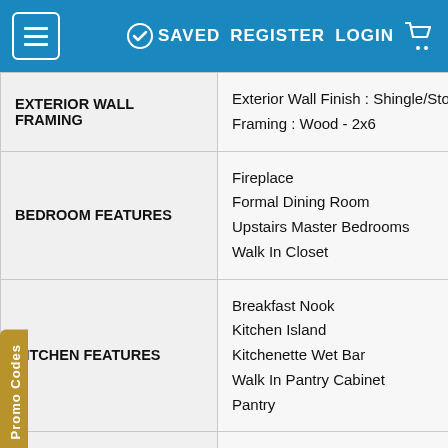≡  ✔ SAVED  REGISTER  LOGIN  🛒
| Category | Details |
| --- | --- |
| EXTERIOR WALL FRAMING | Exterior Wall Finish : Shingle/Stone
Framing : Wood - 2x6 |
| BEDROOM FEATURES | Fireplace
Formal Dining Room
Upstairs Master Bedrooms
Walk In Closet |
| KITCHEN FEATURES | Breakfast Nook
Kitchen Island
Kitchenette Wet Bar
Walk In Pantry Cabinet
Pantry |
| ADDITIONAL ROOM FEATURES | Great Room Living Room
Loft
Open Floor Plan
Storage Area
Vaulted / Cathedral Ceilings |